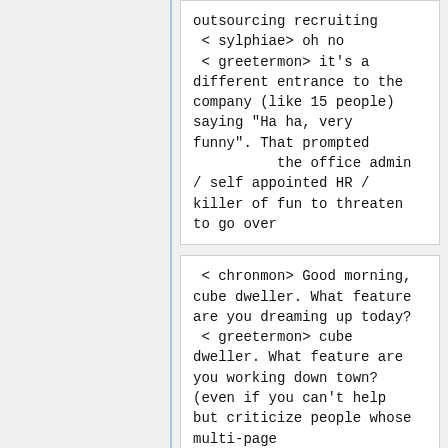outsourcing recruiting
 < sylphiae> oh no
 < greetermon> it's a different entrance to the company (like 15 people) saying "Ha ha, very funny". That prompted          the office admin / self appointed HR / killer of fun to threaten to go over
< chronmon> Good morning, cube dweller. What feature are you dreaming up today?
 < greetermon> cube dweller. What feature are you working down town? (even if you can't help but criticize people whose multi-page
resume has a paragraph